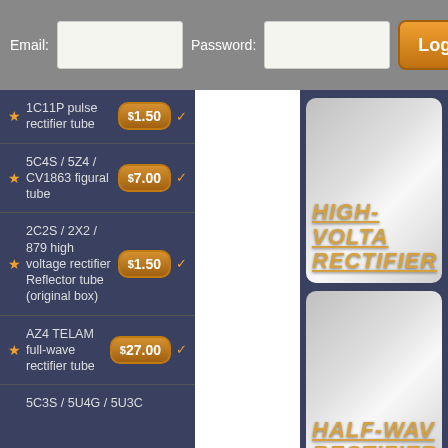Email: [input] Password: [input] Login
1C11P pulse rectifier tube $1.50
5C4S / 5Z4 / CV1863 figural tube $7.00
2C2S / 2X2 / 879 high voltage rectifier Reflector tube (original box) $1.50
AZ4 TELAM full-wave rectifier tube $27.00
5C3S / 5U4G / 5U3C
HIGH-VOLTAGE RECTIFIER
HALF-WAVE RECTIFIER